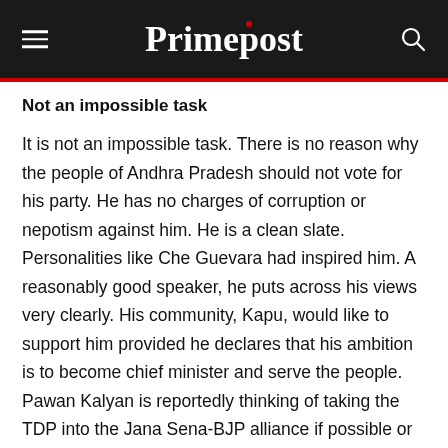Primepost
Not an impossible task
It is not an impossible task. There is no reason why the people of Andhra Pradesh should not vote for his party. He has no charges of corruption or nepotism against him. He is a clean slate. Personalities like Che Guevara had inspired him. A reasonably good speaker, he puts across his views very clearly. His community, Kapu, would like to support him provided he declares that his ambition is to become chief minister and serve the people. Pawan Kalyan is reportedly thinking of taking the TDP into the Jana Sena-BJP alliance if possible or get out of the alliance with the BJP and go for electoral tie-up with the TDP. He is doing this because he has no faith in himself.